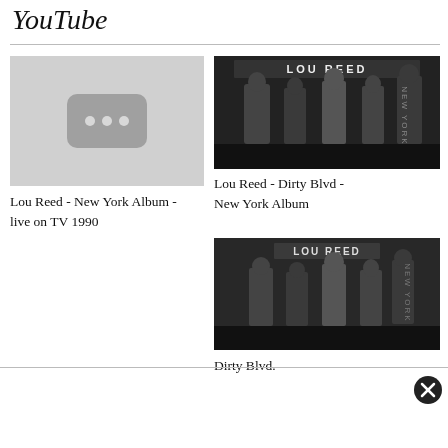YouTube
[Figure (screenshot): YouTube video placeholder thumbnail with grey background and rounded rectangle icon with three dots]
Lou Reed - New York Album - live on TV 1990
[Figure (photo): Black and white album cover photo of Lou Reed - New York Album showing band members]
Lou Reed - Dirty Blvd - New York Album
[Figure (photo): Black and white album cover photo of Lou Reed showing band members with LOU REED text]
Dirty Blvd.